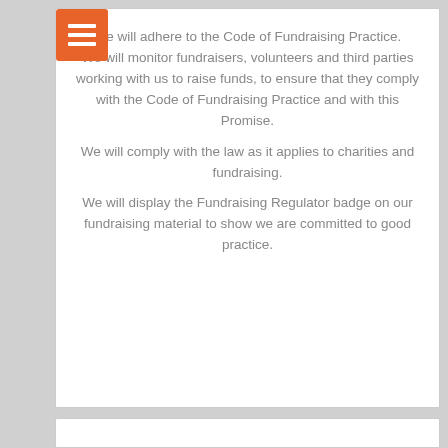We will adhere to the Code of Fundraising Practice. We will monitor fundraisers, volunteers and third parties working with us to raise funds, to ensure that they comply with the Code of Fundraising Practice and with this Promise. We will comply with the law as it applies to charities and fundraising. We will display the Fundraising Regulator badge on our fundraising material to show we are committed to good practice.